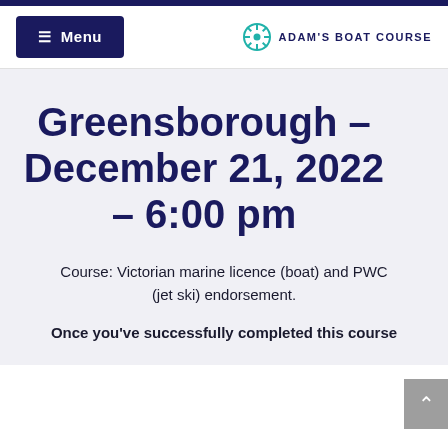Menu | ADAM'S BOAT COURSE
Greensborough – December 21, 2022 – 6:00 pm
Course: Victorian marine licence (boat) and PWC (jet ski) endorsement.
Once you've successfully completed this course